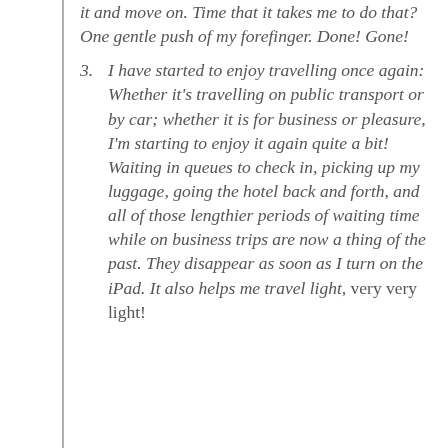it and move on. Time that it takes me to do that? One gentle push of my forefinger. Done! Gone!
I have started to enjoy travelling once again: Whether it's travelling on public transport or by car; whether it is for business or pleasure, I'm starting to enjoy it again quite a bit! Waiting in queues to check in, picking up my luggage, going the hotel back and forth, and all of those lengthier periods of waiting time while on business trips are now a thing of the past. They disappear as soon as I turn on the iPad. It also helps me travel light, very very light!